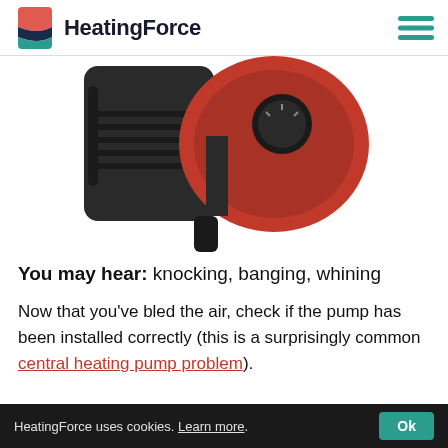HeatingForce
[Figure (photo): Close-up photo of a red and black central heating pump/circulator pump, partially cropped, showing the motor housing and control dial.]
You may hear: knocking, banging, whining
Now that you've bled the air, check if the pump has been installed correctly (this is a surprisingly common central heating pump problem).
HeatingForce uses cookies. Learn more. Ok